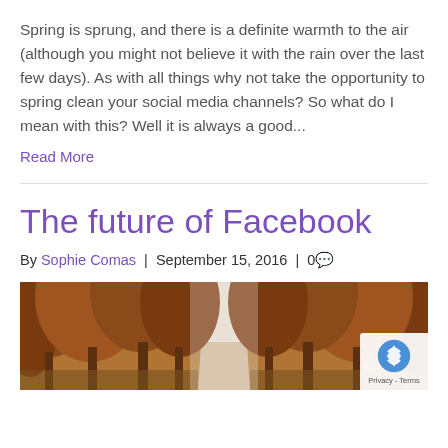Spring is sprung, and there is a definite warmth to the air (although you might not believe it with the rain over the last few days).  As with all things why not take the opportunity to spring clean your social media channels?  So what do I mean with this?  Well it is always a good...
Read More
The future of Facebook
By Sophie Comas  |  September 15, 2016  |  0
[Figure (photo): Autumn forest road photo showing tree-lined path with orange/red foliage and misty light at the end]